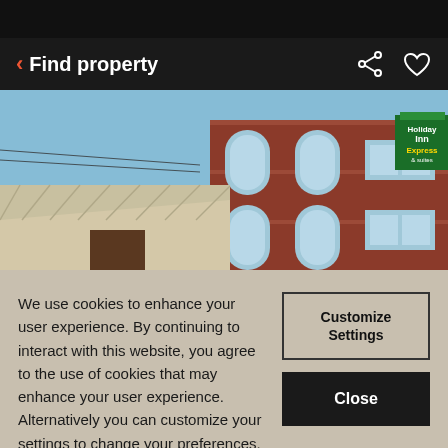[Figure (screenshot): Black top status bar at top of mobile screen]
< Find property
[Figure (photo): Exterior photo of Holiday Inn Express & Suites hotel building with red brick facade, arched windows, metal roof canopy, and green tree in foreground against blue sky]
We use cookies to enhance your user experience. By continuing to interact with this website, you agree to the use of cookies that may enhance your user experience. Alternatively you can customize your settings to change your preferences. Learn
Customize Settings
Close